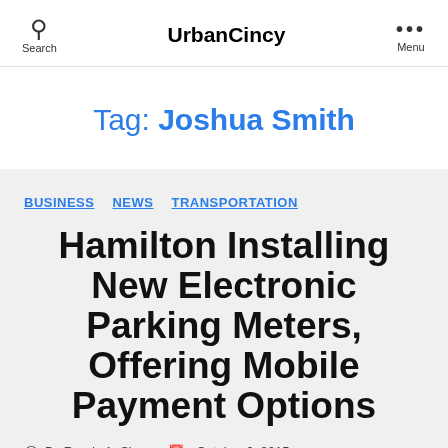Search | UrbanCincy | Menu
Tag: Joshua Smith
BUSINESS  NEWS  TRANSPORTATION
Hamilton Installing New Electronic Parking Meters, Offering Mobile Payment Options
By Randy A. Simes  October 6, 2015